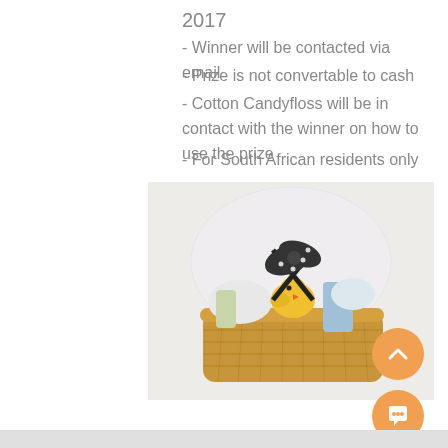2017
- Winner will be contacted via email
- Prize is not convertable to cash
- Cotton Candyfloss will be in contact with the winner on how to use the prize
- For South African residents only
[Figure (photo): A wicker gift basket filled with items, wrapped with a black and white polka-dot ribbon tied in a bow, with a small yellow chick decoration, on a white background.]
[Figure (other): Orange circular scroll-up button with chevron icon]
[Figure (other): Orange circular chat/message button]